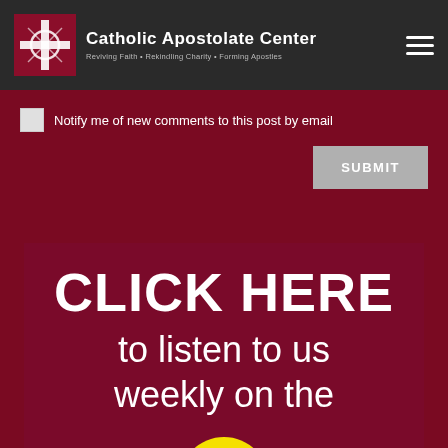Catholic Apostolate Center — Reviving Faith • Rekindling Charity • Forming Apostles
Notify me of new comments to this post by email
SUBMIT
[Figure (infographic): Dark red banner with white bold text reading 'CLICK HERE to listen to us weekly on the' and a yellow circle partially visible at the bottom]